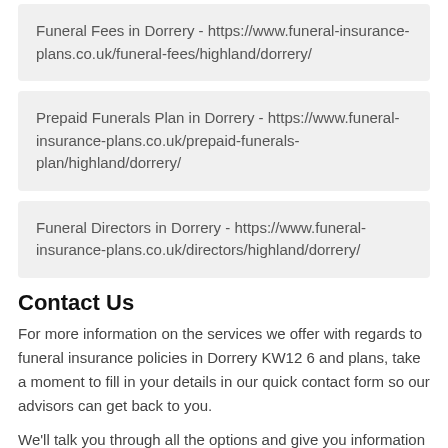Funeral Fees in Dorrery - https://www.funeral-insurance-plans.co.uk/funeral-fees/highland/dorrery/
Prepaid Funerals Plan in Dorrery - https://www.funeral-insurance-plans.co.uk/prepaid-funerals-plan/highland/dorrery/
Funeral Directors in Dorrery - https://www.funeral-insurance-plans.co.uk/directors/highland/dorrery/
Contact Us
For more information on the services we offer with regards to funeral insurance policies in Dorrery KW12 6 and plans, take a moment to fill in your details in our quick contact form so our advisors can get back to you.
We'll talk you through all the options and give you information on available payment plans.
Best Funeral Insurance Plans in Dorrery